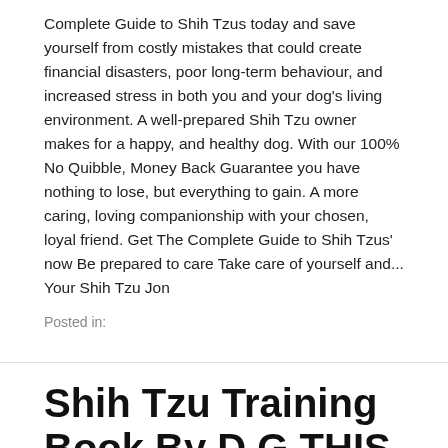Complete Guide to Shih Tzus today and save yourself from costly mistakes that could create financial disasters, poor long-term behaviour, and increased stress in both you and your dog's living environment. A well-prepared Shih Tzu owner makes for a happy, and healthy dog. With our 100% No Quibble, Money Back Guarantee you have nothing to lose, but everything to gain. A more caring, loving companionship with your chosen, loyal friend. Get The Complete Guide to Shih Tzus' now Be prepared to care Take care of yourself and... Your Shih Tzu Jon
Posted in:
Shih Tzu Training Book By D G THIS DOG TRAINING Obedience Specializ...